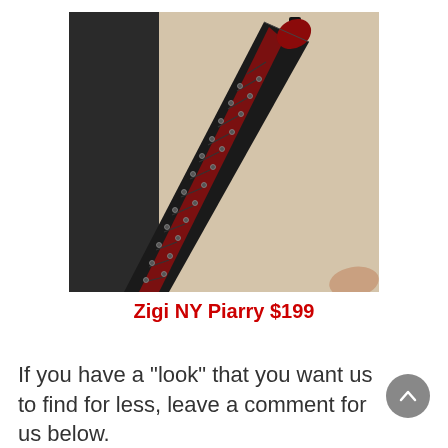[Figure (photo): A leg raised upward wearing a tall black lace-up over-the-knee high heel boot with metal eyelets, photographed from below against a light wall background.]
Zigi NY Piarry $199
If you have a "look" that you want us to find for less, leave a comment for us below.